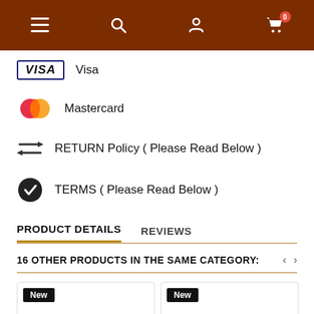Navigation bar with menu, search, account, and cart (0 items)
Visa
Mastercard
RETURN Policy ( Please Read Below )
TERMS ( Please Read Below )
PRODUCT DETAILS   REVIEWS
16 OTHER PRODUCTS IN THE SAME CATEGORY:
[Figure (screenshot): Two product cards with 'New' badges at the bottom of the page]